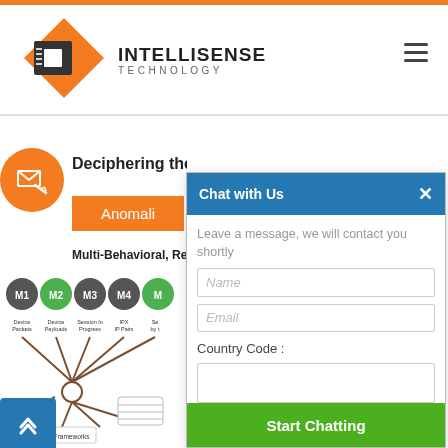[Figure (logo): Intellisense Technology logo with orange diamond shape and dark square icon, company name in bold]
Deciphering the A...
Anomali...
Multi-Behavioral, Real-Tim...
[Figure (infographic): Network diagram showing M1-M5 behavioral models including Device Packets, Device Payloads, Session In Progress, IPX IP Pairs, with connecting lines and Policy Frameworks label]
[Figure (screenshot): Chat with Us panel overlay with blue header, subtitle text, Name and Email input fields, Country Code label and input, and green Start Chatting button]